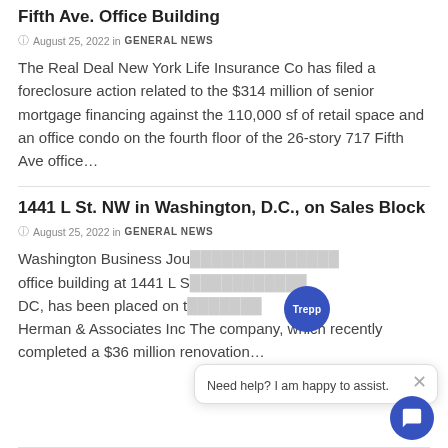Fifth Ave. Office Building
August 25, 2022 in GENERAL NEWS
The Real Deal New York Life Insurance Co has filed a foreclosure action related to the $314 million of senior mortgage financing against the 110,000 sf of retail space and an office condo on the fourth floor of the 26-story 717 Fifth Ave office...
1441 L St. NW in Washington, D.C., on Sales Block
August 25, 2022 in GENERAL NEWS
Washington Business Jou... office building at 1441 L S... DC, has been placed on t... Herman & Associates Inc The company, which recently completed a $36 million renovation...